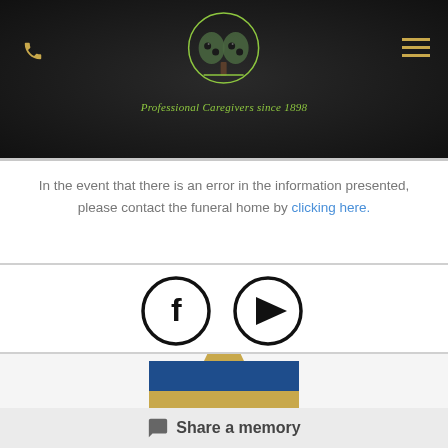[Figure (logo): Anchors Memorial Group logo with olive tree imagery, circular badge, and cursive tagline 'Professional Caregivers since 1898' on dark background]
In the event that there is an error in the information presented, please contact the funeral home by clicking here.
[Figure (illustration): Facebook and YouTube social media icons as black circle outlines]
[Figure (illustration): Candle/memorial flame icon with blue rectangular base and gold flame, partially visible]
Share a memory